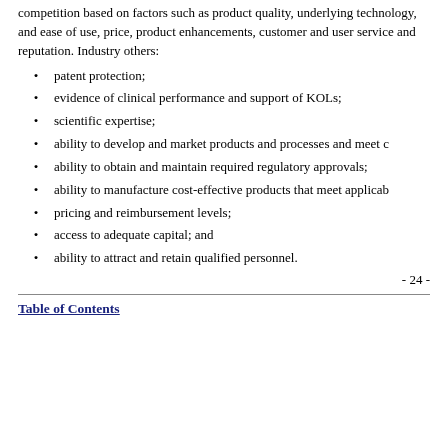competition based on factors such as product quality, underlying technology, and ease of use, price, product enhancements, customer and user service and reputation. Industry others:
patent protection;
evidence of clinical performance and support of KOLs;
scientific expertise;
ability to develop and market products and processes and meet c
ability to obtain and maintain required regulatory approvals;
ability to manufacture cost-effective products that meet applicab
pricing and reimbursement levels;
access to adequate capital; and
ability to attract and retain qualified personnel.
- 24 -
Table of Contents